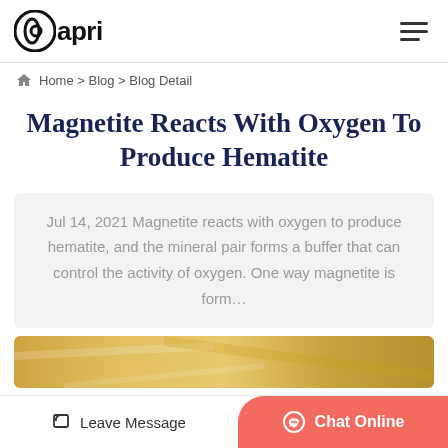papri
Home > Blog > Blog Detail
Magnetite Reacts With Oxygen To Produce Hematite
Jul 14, 2021 Magnetite reacts with oxygen to produce hematite, and the mineral pair forms a buffer that can control the activity of oxygen. One way magnetite is form…
[Figure (photo): Partial image strip showing a golden/yellow colored mineral or scientific specimen]
Leave Message
Chat Online